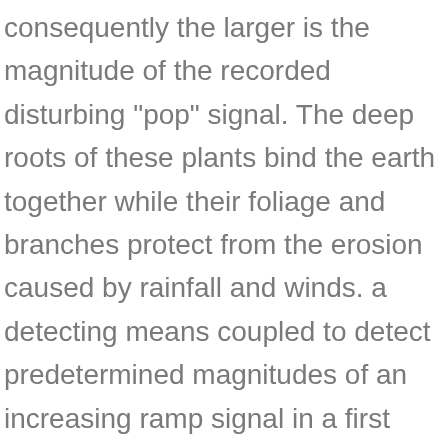consequently the larger is the magnitude of the recorded disturbing "pop" signal. The deep roots of these plants bind the earth together while their foliage and branches protect from the erosion caused by rainfall and winds. a detecting means coupled to detect predetermined magnitudes of an increasing ramp signal in a first succession and to apply responsively respective control signals to said switches to connect is sasid first succession said further resistors respectively to said series input resistor to obtain an incrementally increasing slope of said increasing ramp signal and said detecting means being coupled to detect said predetermined magnitudes of a decreasing ramp signal in a second succession, opposite to said first succession and to apply responsively respective control signals to said switches to disconnect in said second